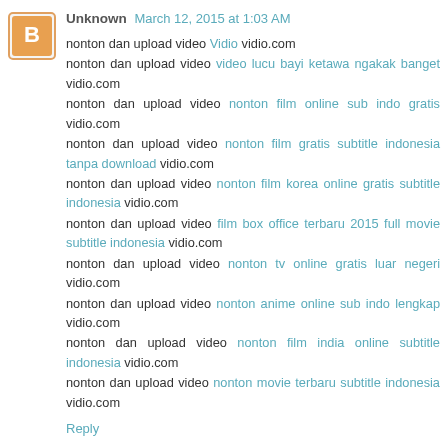Unknown  March 12, 2015 at 1:03 AM
nonton dan upload video Vidio vidio.com
nonton dan upload video video lucu bayi ketawa ngakak banget vidio.com
nonton dan upload video nonton film online sub indo gratis vidio.com
nonton dan upload video nonton film gratis subtitle indonesia tanpa download vidio.com
nonton dan upload video nonton film korea online gratis subtitle indonesia vidio.com
nonton dan upload video film box office terbaru 2015 full movie subtitle indonesia vidio.com
nonton dan upload video nonton tv online gratis luar negeri vidio.com
nonton dan upload video nonton anime online sub indo lengkap vidio.com
nonton dan upload video nonton film india online subtitle indonesia vidio.com
nonton dan upload video nonton movie terbaru subtitle indonesia vidio.com
Reply